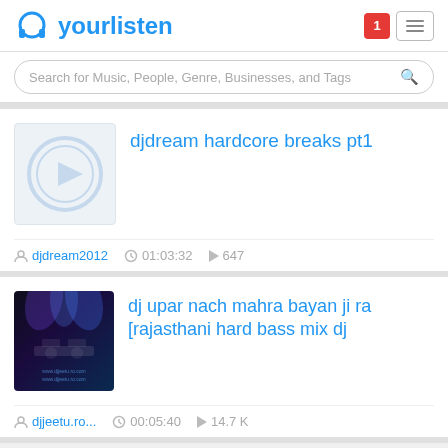yourlisten
Search for Music, People, Genre, Businesses, and Tags
djdream hardcore breaks pt1
djdream2012  01:03:32  647
dj upar nach mahra bayan ji ra [rajasthani hard bass mix dj
djjeetu.ro...  00:05:40  14.7 K